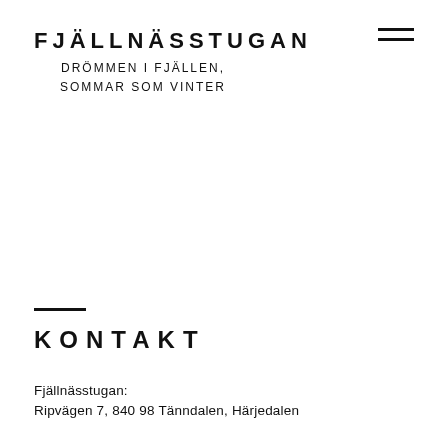FJÄLLNÄSSTUGAN
DRÖMMEN I FJÄLLEN, SOMMAR SOM VINTER
KONTAKT
Fjällnässtugan:
Ripvägen 7, 840 98 Tänndalen, Härjedalen